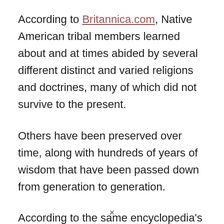According to Britannica.com, Native American tribal members learned about and at times abided by several different distinct and varied religions and doctrines, many of which did not survive to the present.
Others have been preserved over time, along with hundreds of years of wisdom that have been passed down from generation to generation.
According to the same encyclopedia's website, Native American people themselves often claim that their traditional ways of life do not actually
×